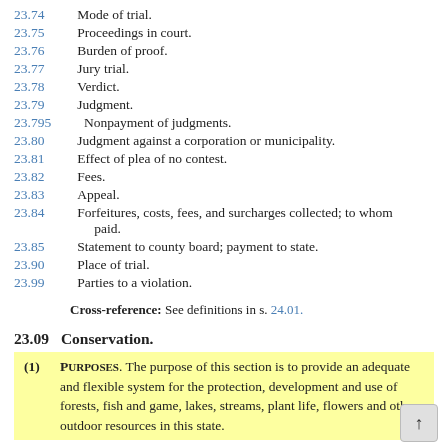23.74  Mode of trial.
23.75  Proceedings in court.
23.76  Burden of proof.
23.77  Jury trial.
23.78  Verdict.
23.79  Judgment.
23.795  Nonpayment of judgments.
23.80  Judgment against a corporation or municipality.
23.81  Effect of plea of no contest.
23.82  Fees.
23.83  Appeal.
23.84  Forfeitures, costs, fees, and surcharges collected; to whom paid.
23.85  Statement to county board; payment to state.
23.90  Place of trial.
23.99  Parties to a violation.
Cross-reference: See definitions in s. 24.01.
23.09  Conservation.
(1) Purposes. The purpose of this section is to provide an adequate and flexible system for the protection, development and use of forests, fish and game, lakes, streams, plant life, flowers and other outdoor resources in this state.